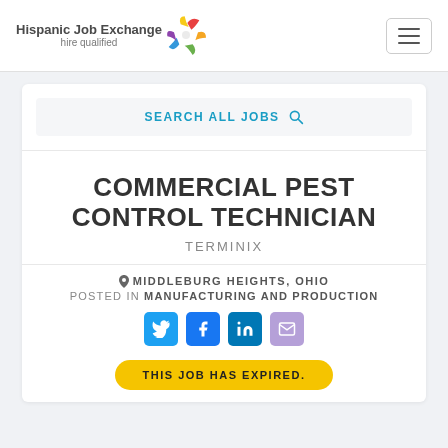Hispanic Job Exchange hire qualified
SEARCH ALL JOBS
COMMERCIAL PEST CONTROL TECHNICIAN
TERMINIX
MIDDLEBURG HEIGHTS, OHIO
POSTED IN MANUFACTURING AND PRODUCTION
THIS JOB HAS EXPIRED.